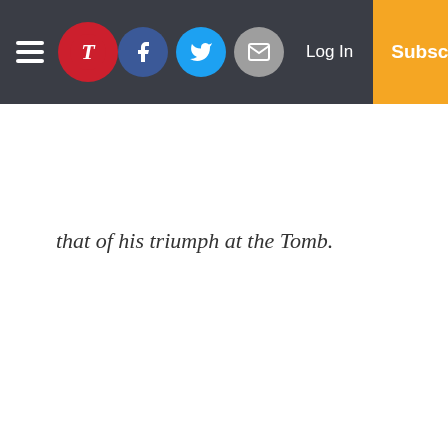Navigation bar with logo, social icons, Log In, Subscribe
that of his triumph at the Tomb.